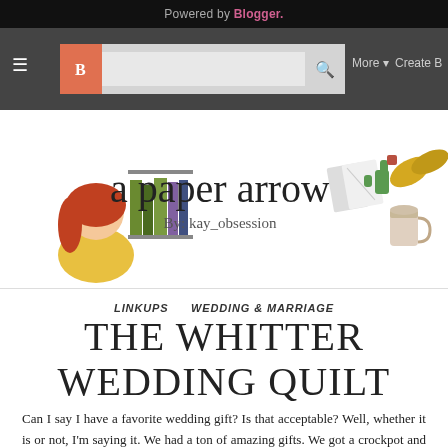Powered by Blogger.
[Figure (screenshot): Blogger navigation bar with hamburger menu, search box, More and Create Blog options]
[Figure (logo): Blog header image: 'a paper arrow by kay_obsession' with illustrated girl, books, coffee cup and plants]
LINKUPS   WEDDING & MARRIAGE
THE WHITTER WEDDING QUILT
Can I say I have a favorite wedding gift? Is that acceptable? Well, whether it is or not, I'm saying it. We had a ton of amazing gifts. We got a crockpot and a toaster, a Keurig 2.0 (YESSS! Life changing) and so many amazing gifts, and I am so